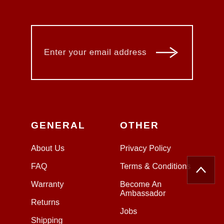Enter your email address
GENERAL
About Us
FAQ
Warranty
Returns
Shipping
Contact
OTHER
Privacy Policy
Terms & Conditions
Become An Ambassador
Jobs
Saber University
Exhibiting Schedule